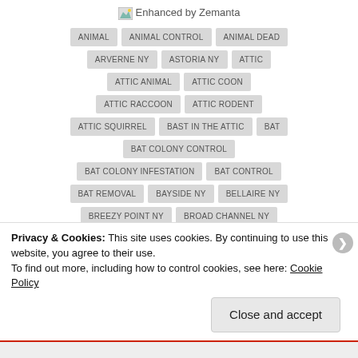[Figure (logo): Enhanced by Zemanta logo with small image icon]
ANIMAL
ANIMAL CONTROL
ANIMAL DEAD
ARVERNE NY
ASTORIA NY
ATTIC
ATTIC ANIMAL
ATTIC COON
ATTIC RACCOON
ATTIC RODENT
ATTIC SQUIRREL
BAST IN THE ATTIC
BAT
BAT COLONY CONTROL
BAT COLONY INFESTATION
BAT CONTROL
BAT REMOVAL
BAYSIDE NY
BELLAIRE NY
BREEZY POINT NY
BROAD CHANNEL NY
Privacy & Cookies: This site uses cookies. By continuing to use this website, you agree to their use. To find out more, including how to control cookies, see here: Cookie Policy
Close and accept